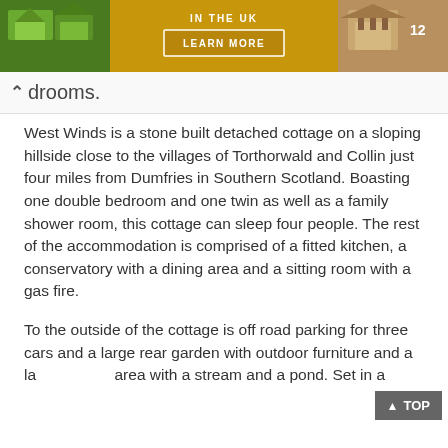[Figure (illustration): Banner advertisement for cottage/property rentals in the UK with images of cottages and a 'Learn More' button on a golden-green background]
...drooms.
West Winds is a stone built detached cottage on a sloping hillside close to the villages of Torthorwald and Collin just four miles from Dumfries in Southern Scotland. Boasting one double bedroom and one twin as well as a family shower room, this cottage can sleep four people. The rest of the accommodation is comprised of a fitted kitchen, a conservatory with a dining area and a sitting room with a gas fire.
To the outside of the cottage is off road parking for three cars and a large rear garden with outdoor furniture and a la... area with a stream and a pond. Set in a